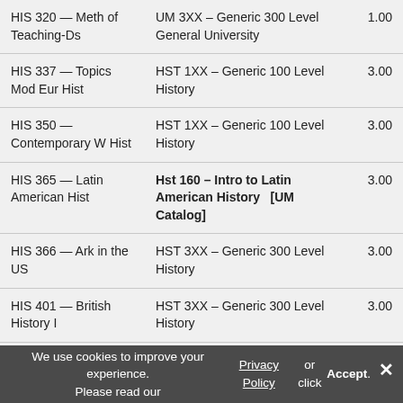| Course | Equivalent | Credits |
| --- | --- | --- |
| HIS 320 — Meth of Teaching-Ds | UM 3XX – Generic 300 Level General University | 1.00 |
| HIS 337 — Topics Mod Eur Hist | HST 1XX – Generic 100 Level History | 3.00 |
| HIS 350 — Contemporary W Hist | HST 1XX – Generic 100 Level History | 3.00 |
| HIS 365 — Latin American Hist | Hst 160 – Intro to Latin American History [UM Catalog] | 3.00 |
| HIS 366 — Ark in the US | HST 3XX – Generic 300 Level History | 3.00 |
| HIS 401 — British History I | HST 3XX – Generic 300 Level History | 3.00 |
| HIS 402 — British History | HST 3XX – Generic 300 Level | 3.00 |
We use cookies to improve your experience. Please read our Privacy Policy or click Accept.